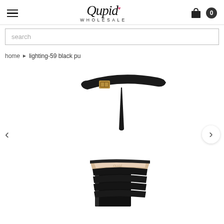Qupid WHOLESALE
search
home > lighting-59 black pu
[Figure (photo): Black strappy high-heel sandal with ankle strap featuring a gold buckle, chunky block heel, and multiple toe straps, shown on a white background. Qupid Wholesale product page for lighting-59 black pu.]